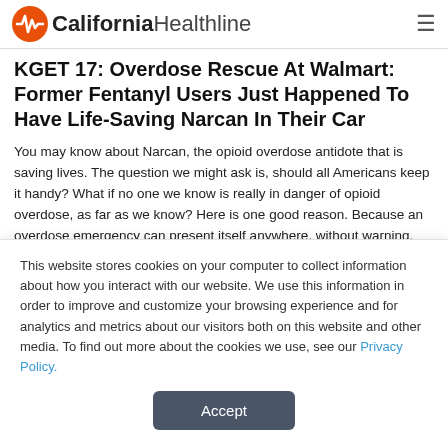California Healthline
KGET 17: Overdose Rescue At Walmart: Former Fentanyl Users Just Happened To Have Life-Saving Narcan In Their Car
You may know about Narcan, the opioid overdose antidote that is saving lives. The question we might ask is, should all Americans keep it handy? What if no one we know is really in danger of opioid overdose, as far as we know? Here is one good reason. Because an overdose emergency can present itself anywhere, without warning.
This website stores cookies on your computer to collect information about how you interact with our website. We use this information in order to improve and customize your browsing experience and for analytics and metrics about our visitors both on this website and other media. To find out more about the cookies we use, see our Privacy Policy.
Accept